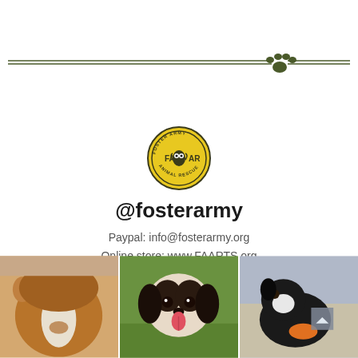[Figure (illustration): Decorative double horizontal line with a dark olive green paw print icon centered on the right side]
[Figure (logo): Circular yellow and dark logo for Foster Army Animal Rescue (FA AR) with an owl/mascot in the center]
@fosterarmy
Paypal: info@fosterarmy.org
Online store: www.FAARTS.org
Snapchat: petrescuethrift
Twitter: foster_army
TikTok: fosterarmyanimalrescue
Facebook: fosterarmy
[Figure (photo): Close-up photo of a brown and white guinea pig]
[Figure (photo): Close-up photo of a Shih Tzu dog with tongue sticking out on green grass]
[Figure (photo): Photo of a small black and white dog with an orange object, outdoors]